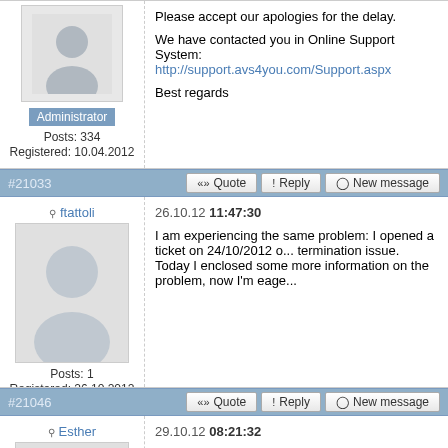[Figure (illustration): Admin user avatar placeholder (top, partial view)]
Administrator
Posts: 334
Registered: 10.04.2012
Please accept our apologies for the delay.

We have contacted you in Online Support System:
http://support.avs4you.com/Support.aspx

Best regards
#21033
«» Quote  !  Reply  New message
ftattoli
[Figure (illustration): ftattoli user avatar placeholder]
Posts: 1
Registered: 26.10.2012
26.10.12 11:47:30

I am experiencing the same problem: I opened a ticket on 24/10/2012 o... termination issue.
Today I enclosed some more information on the problem, now I'm eage...
#21046
«» Quote  !  Reply  New message
Esther
[Figure (illustration): Esther user avatar placeholder]
29.10.12 08:21:32

To: ftattoli

Hello,

We are deeply sorry for the delay.
We have contacted you in Online Support System: